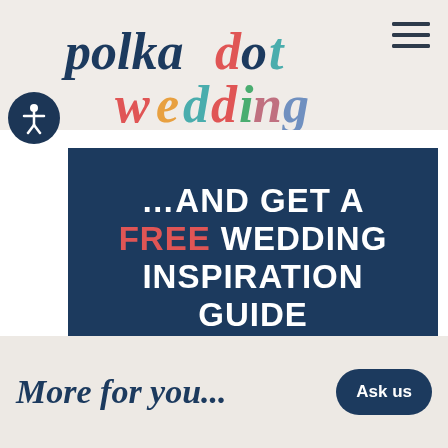[Figure (logo): Polka Dot Wedding logo with colorful serif/display text: 'polkadot' in dark navy and 'wedding' in multicolor letters (red, teal, gold, green, pink)]
…AND GET A FREE WEDDING INSPIRATION GUIDE
SIGN ME UP!
More for you...
Ask us